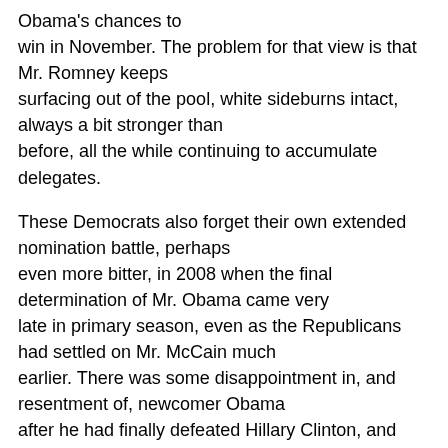Obama's chances to win in November. The problem for that view is that Mr. Romney keeps surfacing out of the pool, white sideburns intact, always a bit stronger than before, all the while continuing to accumulate delegates.
These Democrats also forget their own extended nomination battle, perhaps even more bitter, in 2008 when the final determination of Mr. Obama came very late in primary season, even as the Republicans had settled on Mr. McCain much earlier. There was some disappointment in, and resentment of, newcomer Obama after he had finally defeated Hillary Clinton, and many of Mrs. Clinton's women supporters were thought by some Republicans not to be willing to vote for him only a few months later. But this did not happen.
If you are a supporter of Mitt Romney, and impatient for the